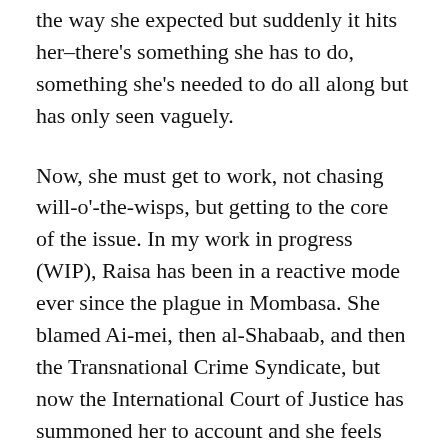the way she expected but suddenly it hits her–there's something she has to do, something she's needed to do all along but has only seen vaguely.
Now, she must get to work, not chasing will-o'-the-wisps, but getting to the core of the issue. In my work in progress (WIP), Raisa has been in a reactive mode ever since the plague in Mombasa. She blamed Ai-mei, then al-Shabaab, and then the Transnational Crime Syndicate, but now the International Court of Justice has summoned her to account and she feels guilty.
Actually, no one is blaming her, but now she realizes she has been fighting back and not fighting forward–retreating instead of advancing. Armed with knowledge of who is the true enemy and the will to use her knowledge to defeat Nikolai Kabulov's scheme to destroy civilization, she can develop a superior organism that can destroy any nanobot plague and advance